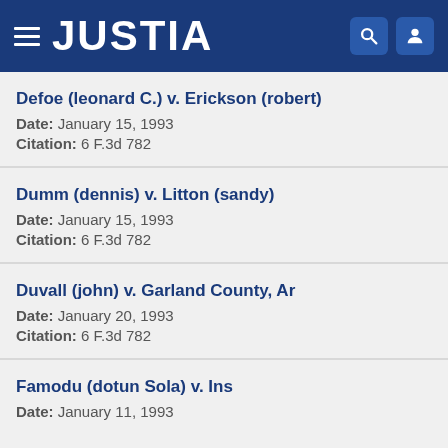JUSTIA
Defoe (leonard C.) v. Erickson (robert)
Date: January 15, 1993
Citation: 6 F.3d 782
Dumm (dennis) v. Litton (sandy)
Date: January 15, 1993
Citation: 6 F.3d 782
Duvall (john) v. Garland County, Ar
Date: January 20, 1993
Citation: 6 F.3d 782
Famodu (dotun Sola) v. Ins
Date: January 11, 1993